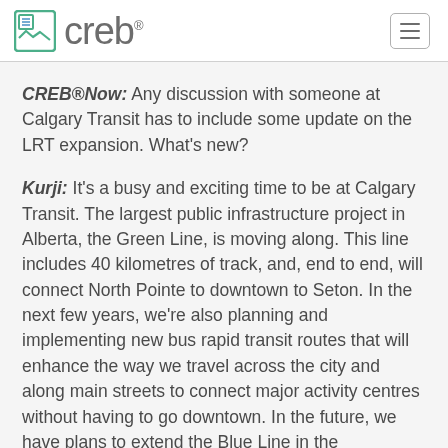creb
CREB®Now: Any discussion with someone at Calgary Transit has to include some update on the LRT expansion. What's new?
Kurji: It's a busy and exciting time to be at Calgary Transit. The largest public infrastructure project in Alberta, the Green Line, is moving along. This line includes 40 kilometres of track, and, end to end, will connect North Pointe to downtown to Seton. In the next few years, we're also planning and implementing new bus rapid transit routes that will enhance the way we travel across the city and along main streets to connect major activity centres without having to go downtown. In the future, we have plans to extend the Blue Line in the